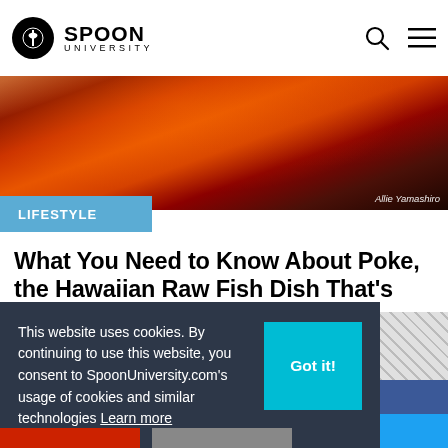SPOON UNIVERSITY
[Figure (photo): Close-up photo of a poke bowl with orange/red marinated fish pieces in a white bowl. Photo credit: Allie Yamashiro]
LIFESTYLE
What You Need to Know About Poke, the Hawaiian Raw Fish Dish That's Giving Sushi a Run for Its Money
[Figure (other): Advertisement banner showing 'Delici Cheesecakes' with a blue SEE MORE button and close/play controls]
This website uses cookies. By continuing to use this website, you consent to SpoonUniversity.com's usage of cookies and similar technologies Learn more